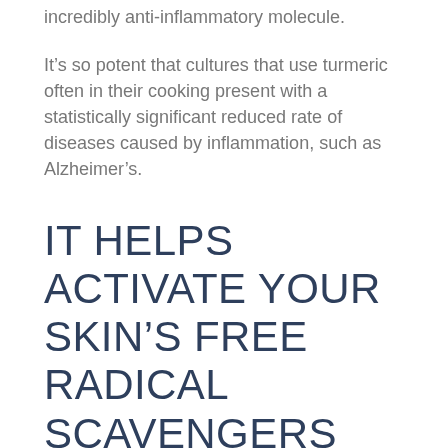incredibly anti-inflammatory molecule.
It’s so potent that cultures that use turmeric often in their cooking present with a statistically significant reduced rate of diseases caused by inflammation, such as Alzheimer’s.
IT HELPS ACTIVATE YOUR SKIN’S FREE RADICAL SCAVENGERS
But its anti-inflammatory, antimicrobial and antioxidant benefits extend to topical applications as well – it helps activate your skin’s free radical scavengers and amazingly, its phytonutrients